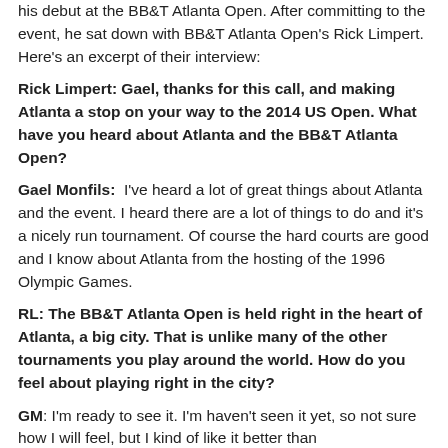his debut at the BB&T Atlanta Open. After committing to the event, he sat down with BB&T Atlanta Open's Rick Limpert. Here's an excerpt of their interview:
Rick Limpert: Gael, thanks for this call, and making Atlanta a stop on your way to the 2014 US Open. What have you heard about Atlanta and the BB&T Atlanta Open?
Gael Monfils:  I've heard a lot of great things about Atlanta and the event. I heard there are a lot of things to do and it's a nicely run tournament. Of course the hard courts are good and I know about Atlanta from the hosting of the 1996 Olympic Games.
RL: The BB&T Atlanta Open is held right in the heart of Atlanta, a big city. That is unlike many of the other tournaments you play around the world. How do you feel about playing right in the city?
GM: I'm ready to see it. I'm haven't seen it yet, so not sure how I will feel, but I kind of like it better than